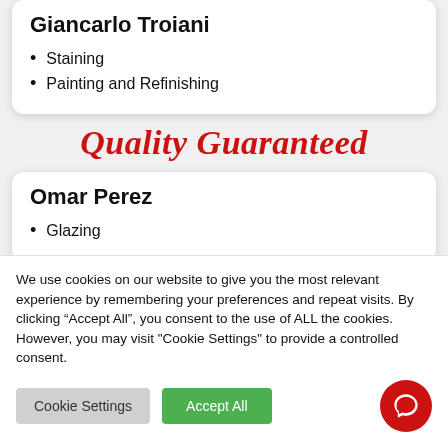Giancarlo Troiani
Staining
Painting and Refinishing
[Figure (other): Quality Guaranteed script text banner in red italic bold font]
Omar Perez
Glazing
We use cookies on our website to give you the most relevant experience by remembering your preferences and repeat visits. By clicking “Accept All”, you consent to the use of ALL the cookies. However, you may visit "Cookie Settings" to provide a controlled consent.